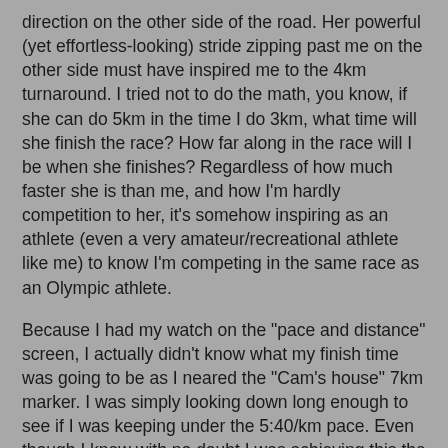direction on the other side of the road. Her powerful (yet effortless-looking) stride zipping past me on the other side must have inspired me to the 4km turnaround. I tried not to do the math, you know, if she can do 5km in the time I do 3km, what time will she finish the race? How far along in the race will I be when she finishes? Regardless of how much faster she is than me, and how I'm hardly competition to her, it's somehow inspiring as an athlete (even a very amateur/recreational athlete like me) to know I'm competing in the same race as an Olympic athlete.
Because I had my watch on the "pace and distance" screen, I actually didn't know what my finish time was going to be as I neared the "Cam's house" 7km marker. I was simply looking down long enough to see if I was keeping under the 5:40/km pace. Even though I knew with no doubt I was achieving this the entire race, I didn't actually know for a fact or had seen proof that I was on pace to achieve my goal for the race. So as I got closer to the finish, I chose not to switch screens to check where I was at, because I liked not knowing, and I didn't want it to mess with my head if the time I saw was not what I expected, if it was disappointing or